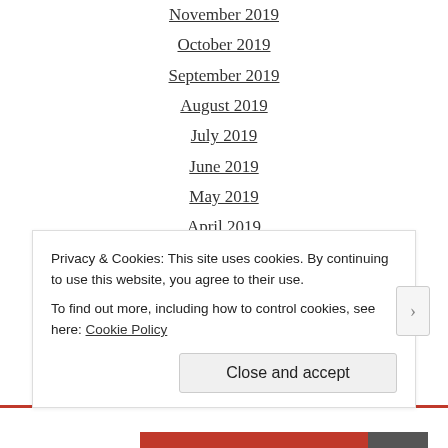November 2019
October 2019
September 2019
August 2019
July 2019
June 2019
May 2019
April 2019
March 2019
February 2019
January 2019
December 2018
November 2018
October 2018
Privacy & Cookies: This site uses cookies. By continuing to use this website, you agree to their use.
To find out more, including how to control cookies, see here: Cookie Policy
Close and accept